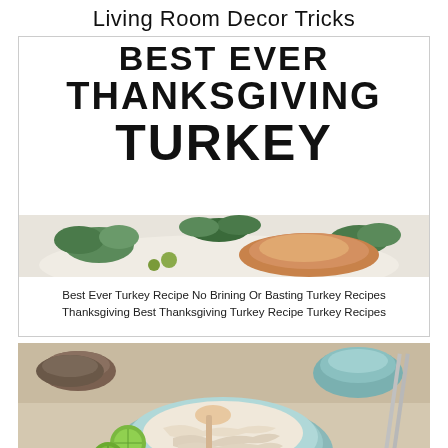Living Room Decor Tricks
[Figure (photo): Card with large bold text 'BEST EVER THANKSGIVING TURKEY' overlaid on a white background, with a food photo strip at the bottom showing herbs and roasted turkey]
Best Ever Turkey Recipe No Brining Or Basting Turkey Recipes Thanksgiving Best Thanksgiving Turkey Recipe Turkey Recipes
[Figure (photo): Photo of shredded/poached chicken in a ceramic bowl with lime slices, red onion, chopsticks, and small bowls in background. Close button at bottom.]